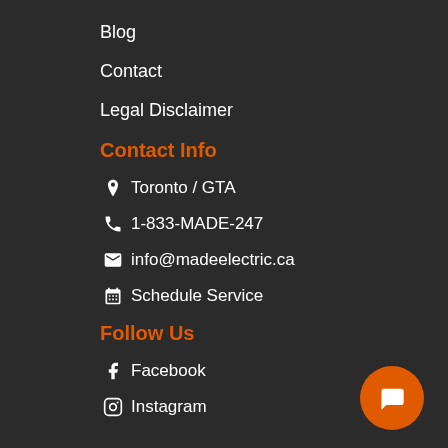Blog
Contact
Legal Disclaimer
Contact Info
Toronto / GTA
1-833-MADE-247
info@madeelectric.ca
Schedule Service
Follow Us
Facebook
Instagram